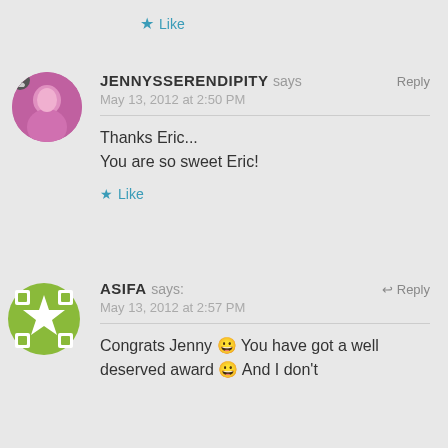★ Like
JENNYSSERENDIPITY says   Reply
May 13, 2012 at 2:50 PM

Thanks Eric...
You are so sweet Eric!

★ Like
ASIFA says:   Reply
May 13, 2012 at 2:57 PM

Congrats Jenny 🙂 You have got a well deserved award 🙂 And I don't